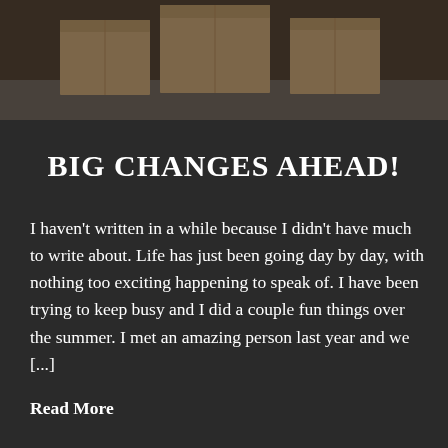[Figure (photo): Photograph of cardboard moving boxes on a grey surface, top portion of image, darkened/overlaid]
BIG CHANGES AHEAD!
I haven't written in a while because I didn't have much to write about. Life has just been going day by day, with nothing too exciting happening to speak of. I have been trying to keep busy and I did a couple fun things over the summer. I met an amazing person last year and we [...]
Read More